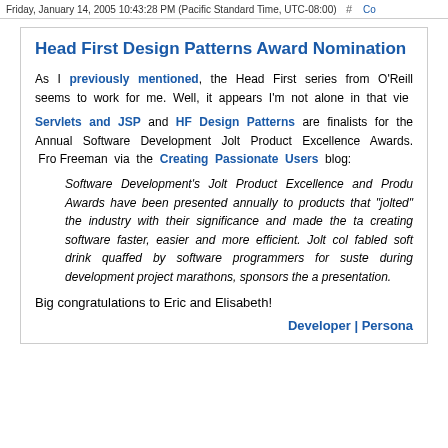Friday, January 14, 2005 10:43:28 PM (Pacific Standard Time, UTC-08:00)  #  Co
Head First Design Patterns Award Nomination
As I previously mentioned, the Head First series from O'Reill seems to work for me. Well, it appears I'm not alone in that vie Servlets and JSP and HF Design Patterns are finalists for the Annual Software Development Jolt Product Excellence Awards. Fro Freeman via the Creating Passionate Users blog:
Software Development's Jolt Product Excellence and Produ Awards have been presented annually to products that "jolted" the industry with their significance and made the ta creating software faster, easier and more efficient. Jolt col fabled soft drink quaffed by software programmers for suste during development project marathons, sponsors the a presentation.
Big congratulations to Eric and Elisabeth!
Developer | Persona